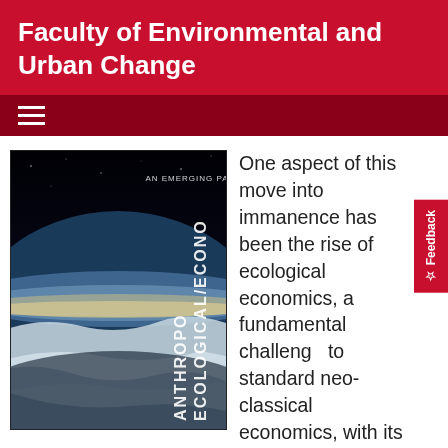Faculty of Environmental and Urban Change
[Figure (screenshot): Book cover of 'Ecological/Economic Anthropology: An Emerging Paradigm' showing Earth from space with cloud formations and atmosphere visible, dark space background at top.]
One aspect of this move into immanence has been the rise of ecological economics, a fundamental challenge to standard neo-classical economics, with its historic, pervasive commitment to infinities of various kinds... ecological economics
[Figure (logo): Ask SAVY button/banner in red with white text and stylized M logo]